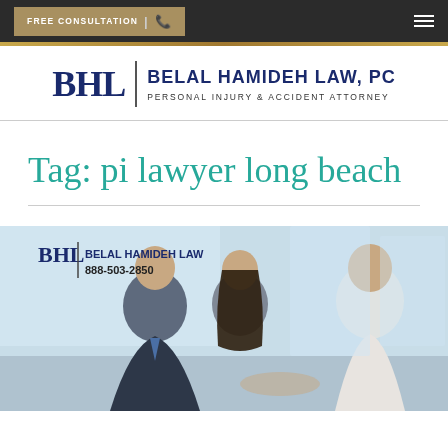FREE CONSULTATION
[Figure (logo): BHL | BELAL HAMIDEH LAW, PC - PERSONAL INJURY & ACCIDENT ATTORNEY logo]
Tag: pi lawyer long beach
[Figure (photo): Consultation scene showing two clients meeting with an attorney, with BHL Belal Hamideh Law logo and phone number 888-503-2850 overlaid in upper left]